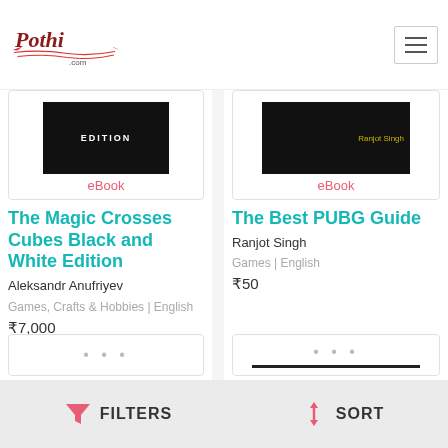Pothi.com
[Figure (screenshot): Book cover for The Magic Crosses Cubes Black and White Edition - dark background with EDITION text]
eBook
The Magic Crosses Cubes Black and White Edition
Aleksandr Anufriyev
Games, Crafts & Hobbies | English
₹7,000
[Figure (screenshot): Book cover for The Best PUBG Guide by Ranjot Singh]
eBook
The Best PUBG Guide
Ranjot Singh
Games | English
₹50
FILTERS   SORT